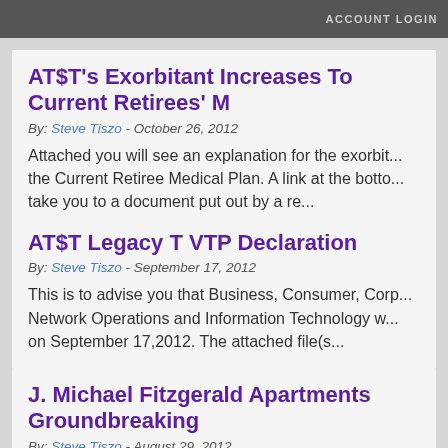ACCOUNT LOGIN
AT$T's Exorbitant Increases To Current Retirees' M
By: Steve Tiszo - October 26, 2012
Attached you will see an explanation for the exorbit... the Current Retiree Medical Plan. A link at the botto... take you to a document put out by a re...
AT$T Legacy T VTP Declaration
By: Steve Tiszo - September 17, 2012
This is to advise you that Business, Consumer, Corp... Network Operations and Information Technology w... on September 17,2012. The attached file(s...
J. Michael Fitzgerald Apartments Groundbreaking
By: Steve Tiszo - August 29, 2012
John Michael Fitzgerald, a third-generation electricia... 17,000-member International Brotherhood of Electr... 131 for 11 years...